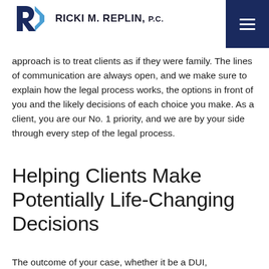RICKI M. REPLIN, P.C.
approach is to treat clients as if they were family. The lines of communication are always open, and we make sure to explain how the legal process works, the options in front of you and the likely decisions of each choice you make. As a client, you are our No. 1 priority, and we are by your side through every step of the legal process.
Helping Clients Make Potentially Life-Changing Decisions
The outcome of your case, whether it be a DUI,